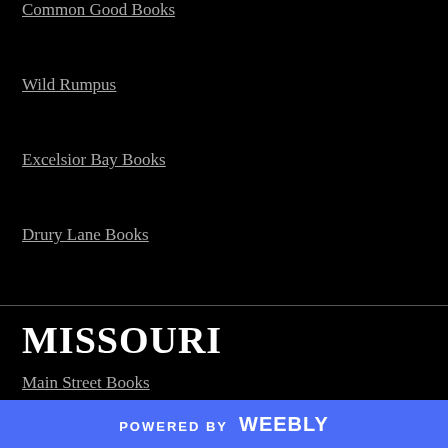Common Good Books
Wild Rumpus
Excelsior Bay Books
Drury Lane Books
MISSOURI
Main Street Books
Left Bank Books
POWERED BY weebly